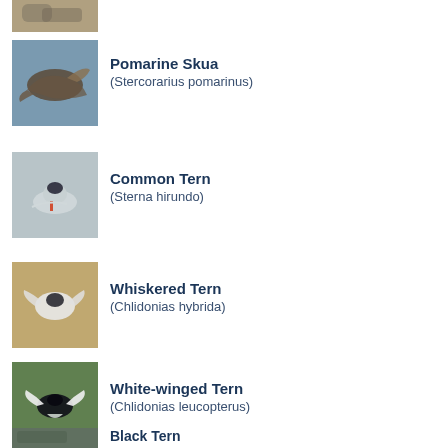[Figure (photo): Partial bird photo at top of page (cropped)]
[Figure (photo): Pomarine Skua in flight (Stercorarius pomarinus)]
Pomarine Skua
(Stercorarius pomarinus)
[Figure (photo): Common Tern standing (Sterna hirundo)]
Common Tern
(Sterna hirundo)
[Figure (photo): Whiskered Tern in flight (Chlidonias hybrida)]
Whiskered Tern
(Chlidonias hybrida)
[Figure (photo): White-winged Tern in flight (Chlidonias leucopterus)]
White-winged Tern
(Chlidonias leucopterus)
[Figure (photo): Partial bird photo at bottom of page (Black Tern, cropped)]
Black Tern